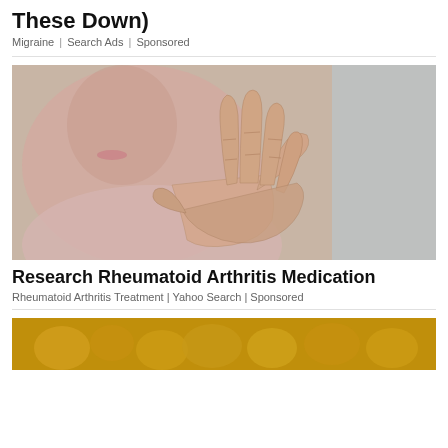These Down)
Migraine | Search Ads | Sponsored
[Figure (photo): Elderly woman holding up her hand showing arthritic fingers, blurred background]
Research Rheumatoid Arthritis Medication
Rheumatoid Arthritis Treatment | Yahoo Search | Sponsored
[Figure (photo): Partial view of a golden/yellow food item, bottom of page]